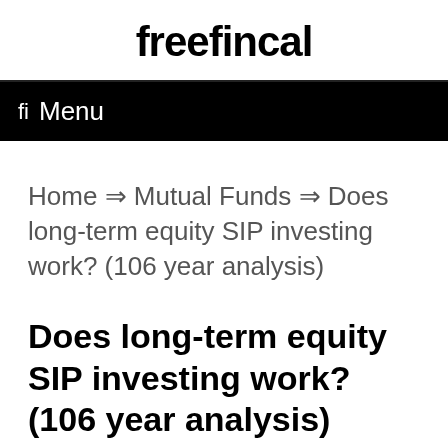freefincal
fi  Menu
Home ⇒ Mutual Funds ⇒ Does long-term equity SIP investing work? (106 year analysis)
Does long-term equity SIP investing work? (106 year analysis)
Published on  March 3, 2021  / By  M.